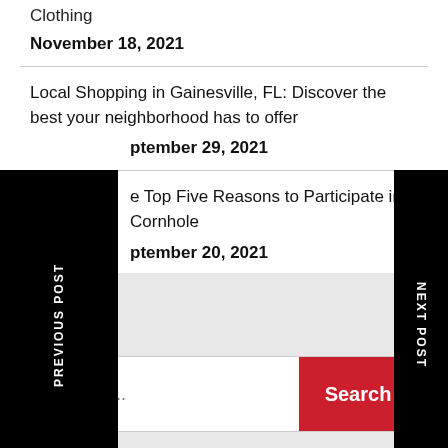Clothing
November 18, 2021
Local Shopping in Gainesville, FL: Discover the best your neighborhood has to offer
September 29, 2021
The Top Five Reasons to Participate in Cornhole
September 20, 2021
PREVIOUS POST
NEXT POST
Search ...
Search